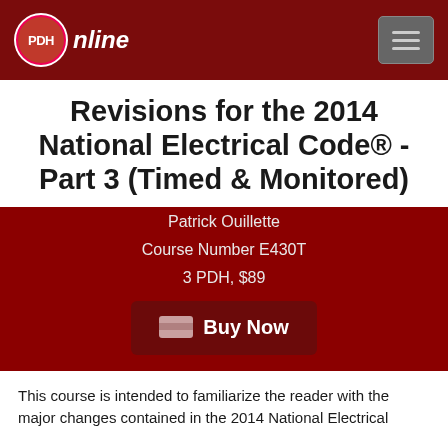PDH online
Revisions for the 2014 National Electrical Code® - Part 3 (Timed & Monitored)
Patrick Ouillette
Course Number E430T
3 PDH, $89
Buy Now
This course is intended to familiarize the reader with the major changes contained in the 2014 National Electrical